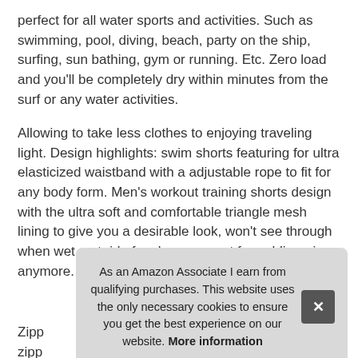perfect for all water sports and activities. Such as swimming, pool, diving, beach, party on the ship, surfing, sun bathing, gym or running. Etc. Zero load and you'll be completely dry within minutes from the surf or any water activities.
Allowing to take less clothes to enjoying traveling light. Design highlights: swim shorts featuring for ultra elasticized waistband with a adjustable rope to fit for any body form. Men's workout training shorts design with the ultra soft and comfortable triangle mesh lining to give you a desirable look, won't see through when wet, get rid of embarrassment for public swim anymore.
More information
Zipp zipp belo freedom of your movement.
As an Amazon Associate I earn from qualifying purchases. This website uses the only necessary cookies to ensure you get the best experience on our website. More information